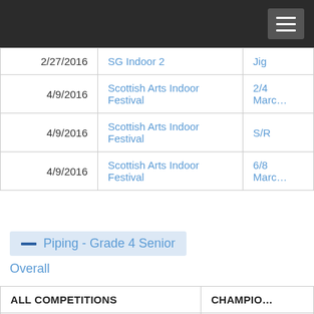| Date | Competition | Category |
| --- | --- | --- |
| 2/27/2016 | SG Indoor 2 | Jig |
| 4/9/2016 | Scottish Arts Indoor Festival | 2/4 March |
| 4/9/2016 | Scottish Arts Indoor Festival | S/R |
| 4/9/2016 | Scottish Arts Indoor Festival | 6/8 March |
Piping - Grade 4 Senior
Overall
| ALL COMPETITIONS | CHAMPIONSHIPS |
| --- | --- |
| Total Points:  11 | Championships |
| Total Competitions:  2 | Total Championships |
| Avg Points Per Competition:  5.5 | Avg Points Per |
| Points Approved:  11 | Championships |